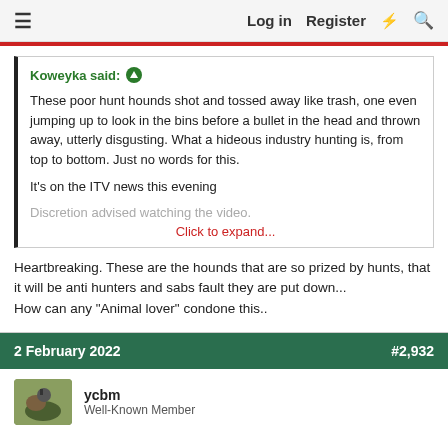≡  Log in  Register  ⚡  🔍
Koweyka said: ↑

These poor hunt hounds shot and tossed away like trash, one even jumping up to look in the bins before a bullet in the head and thrown away, utterly disgusting. What a hideous industry hunting is, from top to bottom. Just no words for this.

It's on the ITV news this evening

Discretion advised watching the video.
Click to expand...
Heartbreaking. These are the hounds that are so prized by hunts, that it will be anti hunters and sabs fault they are put down...
How can any "Animal lover" condone this..
2 February 2022    #2,932
ycbm
Well-Known Member